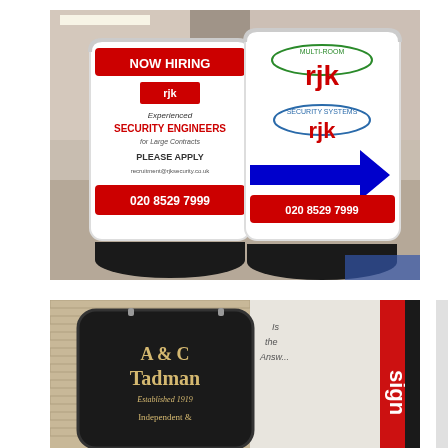[Figure (photo): Two A-frame sandwich board signs on black bases inside a shop. Left sign reads NOW HIRING, rjk logo, Experienced SECURITY ENGINEERS for Large Contracts, PLEASE APPLY, recruitment@rjksecurity.co.uk, 020 8529 7999. Right sign shows rjk MULTI-ROOM and rjk SECURITY SYSTEMS logos with a blue arrow pointing right, www.rjksecurity.co.uk, 020 8529 7999.]
[Figure (photo): Partial view of a dark rounded A-frame sign reading A & C Tadman, Established 1919, Independent & (cut off), positioned against a brick wall background. Red sign on right edge partially visible reading 'sign'.]